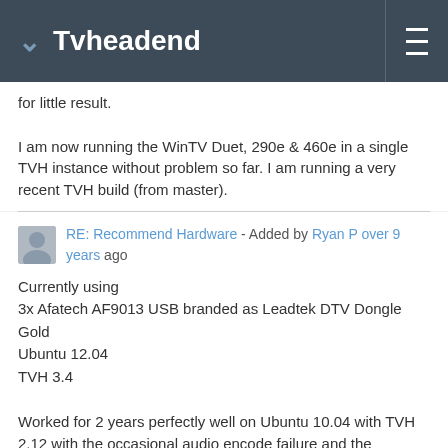Tvheadend
for little result.

I am now running the WinTV Duet, 290e & 460e in a single TVH instance without problem so far. I am running a very recent TVH build (from master).
RE: Recommend Hardware - Added by Ryan P over 9 years ago
Currently using
3x Afatech AF9013 USB branded as Leadtek DTV Dongle Gold
Ubuntu 12.04
TVH 3.4

Worked for 2 years perfectly well on Ubuntu 10.04 with TVH 2.12 with the occasional audio encode failure and the occasional missed recording. No such issues with 12.04 and 3.4 as yet.
RE: Recommend Hardware - Added by Justin Case about 9 years ago